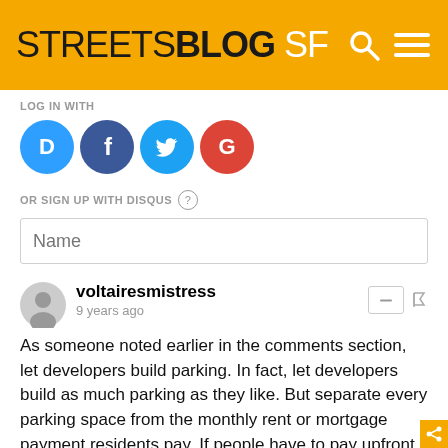STREETSBLOG SF
LOG IN WITH
[Figure (logo): Social login icons: Disqus (blue circle with D), Facebook (dark blue circle with f), Twitter (light blue circle with bird), Google (red circle with G)]
OR SIGN UP WITH DISQUS
voltairesmistress
9 years ago
As someone noted earlier in the comments section, let developers build parking. In fact, let developers build as much parking as they like. But separate every parking space from the monthly rent or mortgage payment residents pay. If people have to pay upfront every month for their parking spaces, they will limit the number or eliminate owning private automobiles. Developers can figure out how much they can charge for parking spaces and build a number that makes